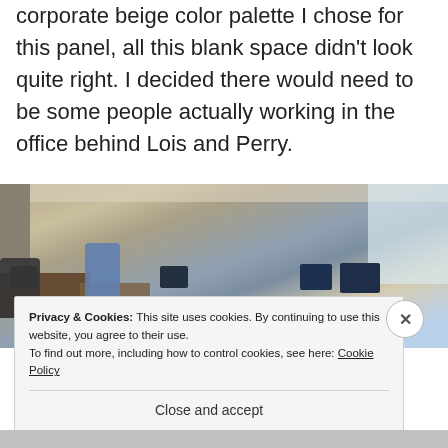corporate beige color palette I chose for this panel, all this blank space didn't look quite right. I decided there would need to be some people actually working in the office behind Lois and Perry.
[Figure (photo): A busy newsroom with many people working at desks with computers, stacks of papers, monitors, and office furniture. A large open office space with fluorescent lighting and windows.]
Privacy & Cookies: This site uses cookies. By continuing to use this website, you agree to their use.
To find out more, including how to control cookies, see here: Cookie Policy
Close and accept